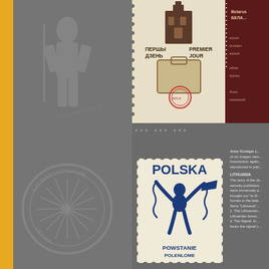[Figure (photo): Top right: composite image of a Belarus first day cover stamp with Cyrillic text 'ПЕРШЫ ДЗЕНЬ PREMIER JOUR' and dark red decorative philatelic elements on right side]
*** *** ***
[Figure (photo): Polish stamp (POLSKA) showing a figure breaking chains, labeled 'POWSTANIE POLENLOME' in blue color]
[Figure (photo): Left panel background with watermark of a circular stamp 'KAUNAS LITHUANIE' and a human figure, Lithuanian House text visible]
Artur Grottger (...) of six images nam... Insurrection again... reproduced in part...
LITHUANIA
The story of the Ja... secretly published... were immensely p... brought out "to lif... homes in the latte... Seria "Lithuania"... 1. The Lithuanian... Lithuanian forest... 2. The Signal. In ... hears the signal c...